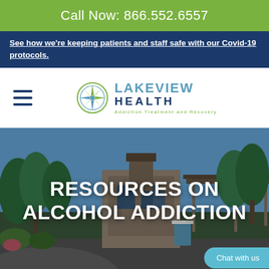Call Now: 866.552.6557
See how we're keeping patients and staff safe with our Covid-19 protocols.
[Figure (logo): Lakeview Health logo with compass rose icon, text reading LAKEVIEW HEALTH Addiction Treatment and Recovery, and hamburger menu icon]
[Figure (photo): Exterior photo of Lakeview Health facility building with trees, parking lot, covered entrance, stone architecture and blue sky]
RESOURCES ON ALCOHOL ADDICTION
Chat with us